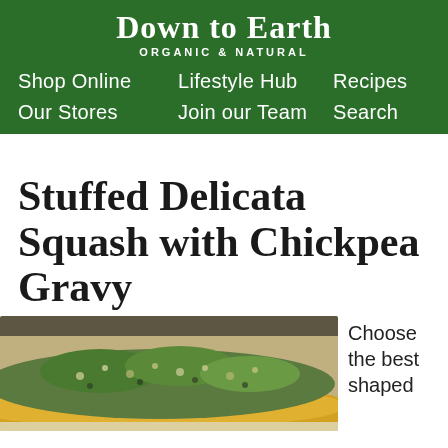Down to Earth ORGANIC & NATURAL
Shop Online   Lifestyle Hub   Recipes   Our Stores   Join our Team   Search
Stuffed Delicata Squash with Chickpea Gravy
[Figure (photo): Close-up photo of stuffed delicata squash filled with chickpea and vegetable mixture]
Choose the best shaped